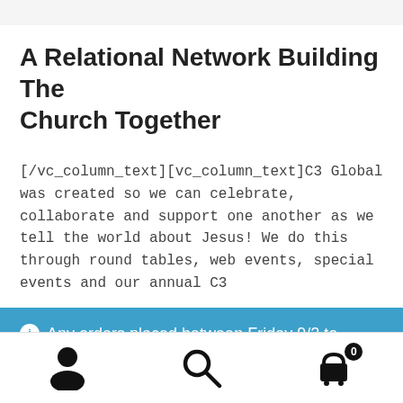A Relational Network Building The Church Together
[/vc_column_text][vc_column_text]C3 Global was created so we can celebrate, collaborate and support one another as we tell the world about Jesus! We do this through round tables, web events, special events and our annual C3
Any orders placed between Friday 9/2 to Tuesday 9/6 will be shipped on Wednesday 9/7! Thank you & Happy Labor Day Weekend!
Dismiss